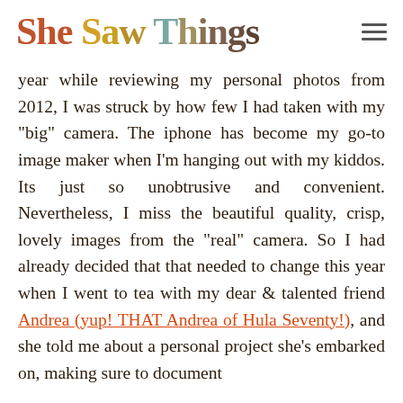She Saw Things
year while reviewing my personal photos from 2012, I was struck by how few I had taken with my "big" camera. The iphone has become my go-to image maker when I'm hanging out with my kiddos. Its just so unobtrusive and convenient. Nevertheless, I miss the beautiful quality, crisp, lovely images from the "real" camera. So I had already decided that that needed to change this year when I went to tea with my dear & talented friend Andrea (yup! THAT Andrea of Hula Seventy!), and she told me about a personal project she's embarked on, making sure to document